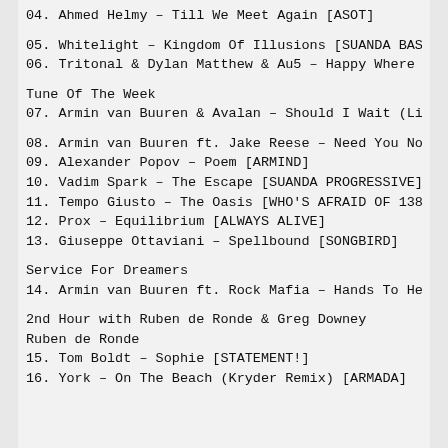04. Ahmed Helmy – Till We Meet Again [ASOT]
05. Whitelight – Kingdom Of Illusions [SUANDA BASE
06. Tritonal & Dylan Matthew & Au5 – Happy Where W
Tune Of The Week
07. Armin van Buuren & Avalan – Should I Wait (Liv
08. Armin van Buuren ft. Jake Reese – Need You Now
09. Alexander Popov – Poem [ARMIND]
10. Vadim Spark – The Escape [SUANDA PROGRESSIVE]
11. Tempo Giusto – The Oasis [WHO'S AFRAID OF 138]
12. Prox – Equilibrium [ALWAYS ALIVE]
13. Giuseppe Ottaviani – Spellbound [SONGBIRD]
Service For Dreamers
14. Armin van Buuren ft. Rock Mafia – Hands To Hea
2nd Hour with Ruben de Ronde & Greg Downey
Ruben de Ronde
15. Tom Boldt – Sophie [STATEMENT!]
16. York – On The Beach (Kryder Remix) [ARMADA]